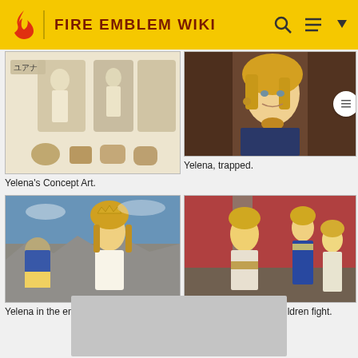FIRE EMBLEM WIKI
[Figure (illustration): Yelena's concept art showing character design sketches with Japanese label ユアナ]
Yelena's Concept Art.
[Figure (screenshot): Yelena trapped, a screenshot from Fire Emblem showing a blonde female character]
Yelena, trapped.
[Figure (screenshot): Yelena in the ending, a screenshot showing her with soldiers and blue sky]
Yelena in the ending.
[Figure (screenshot): Yelena watching her children fight, showing multiple characters in a throne room]
Yelena, watching her children fight.